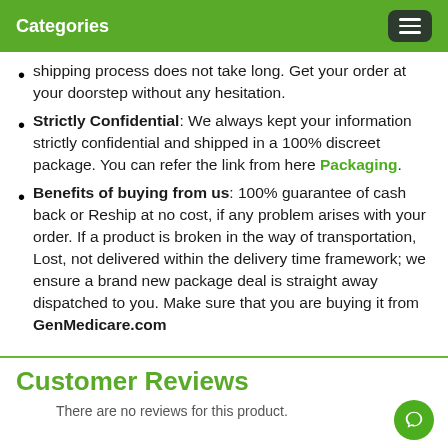Categories
shipping process does not take long. Get your order at your doorstep without any hesitation.
Strictly Confidential: We always kept your information strictly confidential and shipped in a 100% discreet package. You can refer the link from here Packaging.
Benefits of buying from us: 100% guarantee of cash back or Reship at no cost, if any problem arises with your order. If a product is broken in the way of transportation, Lost, not delivered within the delivery time framework; we ensure a brand new package deal is straight away dispatched to you. Make sure that you are buying it from GenMedicare.com
Customer Reviews
There are no reviews for this product.